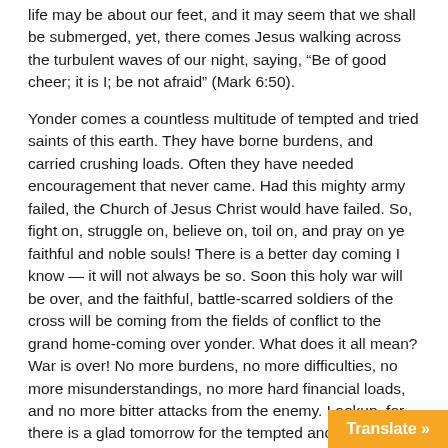life may be about our feet, and it may seem that we shall be submerged, yet, there comes Jesus walking across the turbulent waves of our night, saying, “Be of good cheer; it is I; be not afraid” (Mark 6:50).
Yonder comes a countless multitude of tempted and tried saints of this earth. They have borne burdens, and carried crushing loads. Often they have needed encouragement that never came. Had this mighty army failed, the Church of Jesus Christ would have failed. So, fight on, struggle on, believe on, toil on, and pray on ye faithful and noble souls! There is a better day coming I know — it will not always be so. Soon this holy war will be over, and the faithful, battle-scarred soldiers of the cross will be coming from the fields of conflict to the grand home-coming over yonder. What does it all mean? War is over! No more burdens, no more difficulties, no more misunderstandings, no more hard financial loads, and no more bitter attacks from the enemy. Lookup, for there is a glad tomorrow for the tempted and tried saints of this world!